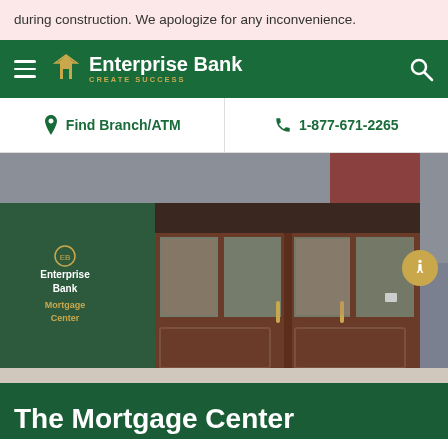during construction. We apologize for any inconvenience.
Enterprise Bank — CREATE SUCCESS
Find Branch/ATM   1-877-671-2265
[Figure (photo): Exterior photo of Enterprise Bank Mortgage Center entrance, showing brown double doors with glass panels, a green wall sign reading 'Enterprise Bank Mortgage Center', and a brick building visible through the glass door.]
The Mortgage Center